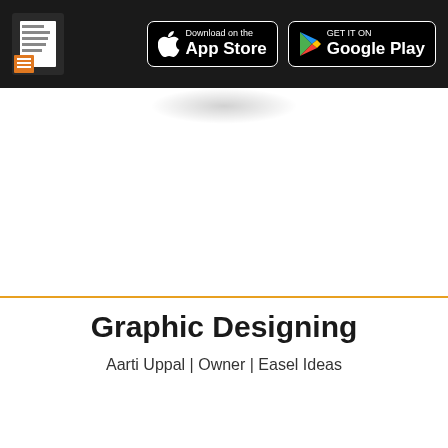LifePage App — Download on the App Store | GET IT ON Google Play
Graphic Designing
Aarti Uppal | Owner | Easel Ideas
[Figure (screenshot): Video thumbnail for LifePage Career Talk on Graphic Des... showing the LifePage logo, title text, and a person on the right with orange decorative background. Text 'Graphic' in gold at bottom left.]